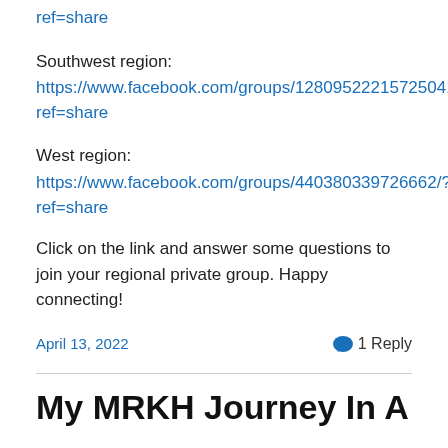ref=share
Southwest region:
https://www.facebook.com/groups/12809522215725041/?ref=share
West region:
https://www.facebook.com/groups/440380339726662/?ref=share
Click on the link and answer some questions to join your regional private group. Happy connecting!
April 13, 2022
1 Reply
My MRKH Journey In A